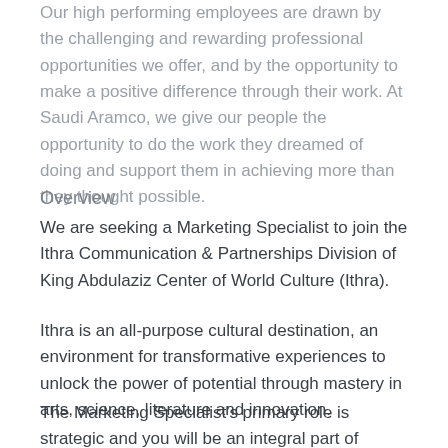Our high performing employees are drawn by the challenging and rewarding professional opportunities we offer, and by the opportunity to make a positive difference through their work. At Saudi Aramco, we give our people the opportunity to do the work they dreamed of doing and support them in achieving more than they thought possible.
Overview
We are seeking a Marketing Specialist to join the Ithra Communication & Partnerships Division of King Abdulaziz Center of World Culture (Ithra).
Ithra is an all-purpose cultural destination, an environment for transformative experiences to unlock the power of potential through mastery in arts, science, literature and innovation.
The Marketing Specialist's primary role is strategic and you will be an integral part of developing and executing